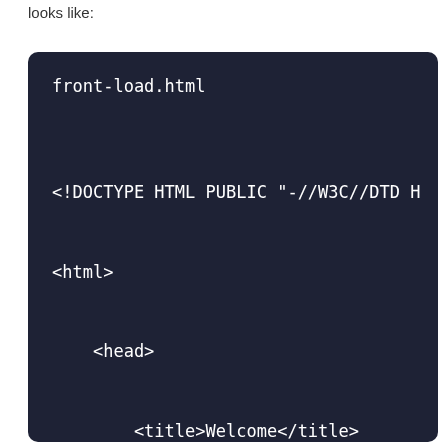looks like:
[Figure (screenshot): Dark-themed code editor screenshot showing front-load.html file with HTML code: <!DOCTYPE HTML PUBLIC "-//W3C//DTD H", <html>, <head>, <title>Welcome</title>]